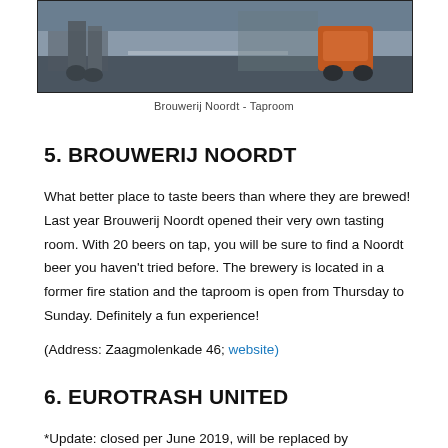[Figure (photo): Street-level photo showing bicycles and a scooter parked outside a building — Brouwerij Noordt Taproom]
Brouwerij Noordt - Taproom
5. BROUWERIJ NOORDT
What better place to taste beers than where they are brewed! Last year Brouwerij Noordt opened their very own tasting room. With 20 beers on tap, you will be sure to find a Noordt beer you haven't tried before. The brewery is located in a former fire station and the taproom is open from Thursday to Sunday. Definitely a fun experience!
(Address: Zaagmolenkade 46; website)
6. EUROTRASH UNITED
*Update: closed per June 2019, will be replaced by